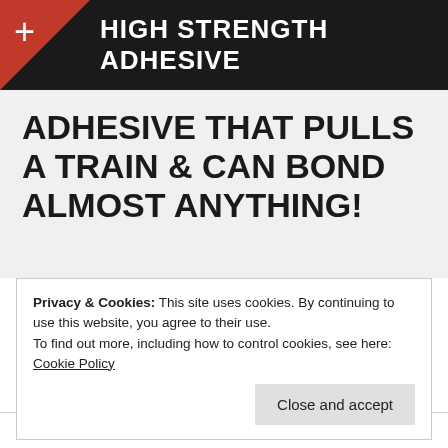HIGH STRENGTH ADHESIVE
ADHESIVE THAT PULLS A TRAIN & CAN BOND ALMOST ANYTHING!
Privacy & Cookies: This site uses cookies. By continuing to use this website, you agree to their use.
To find out more, including how to control cookies, see here: Cookie Policy
Close and accept
we didn't. Why? Because we can! :). Don't take